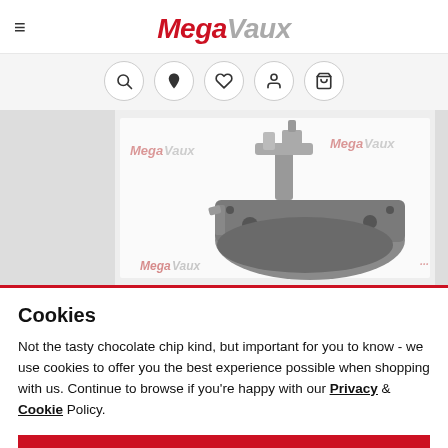MegaVaux
[Figure (photo): A metal automotive gearbox/transmission part photographed against a white backdrop with MegaVaux watermarks]
Cookies
Not the tasty chocolate chip kind, but important for you to know - we use cookies to offer you the best experience possible when shopping with us. Continue to browse if you're happy with our Privacy & Cookie Policy.
CONTINUE